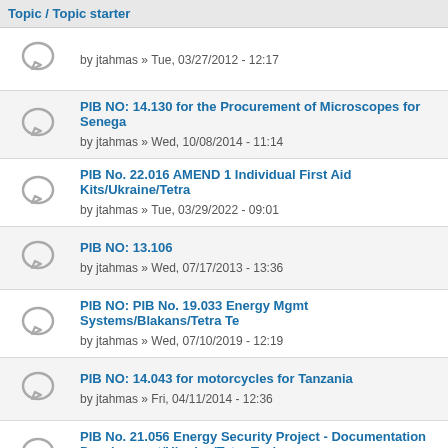Topic / Topic starter
by jtahmas » Tue, 03/27/2012 - 12:17
PIB NO: 14.130 for the Procurement of Microscopes for Senega... by jtahmas » Wed, 10/08/2014 - 11:14
PIB No. 22.016 AMEND 1 Individual First Aid Kits/Ukraine/Tetra... by jtahmas » Tue, 03/29/2022 - 09:01
PIB NO: 13.106 by jtahmas » Wed, 07/17/2013 - 13:36
PIB NO: PIB No. 19.033 Energy Mgmt Systems/Blakans/Tetra Te... by jtahmas » Wed, 07/10/2019 - 12:19
PIB NO: 14.043 for motorcycles for Tanzania by jtahmas » Fri, 04/11/2014 - 12:36
PIB No. 21.056 Energy Security Project - Documentation Development/Ukraine/Tetra Tech by smatacena » Thu, 07/01/2021 - 10:30